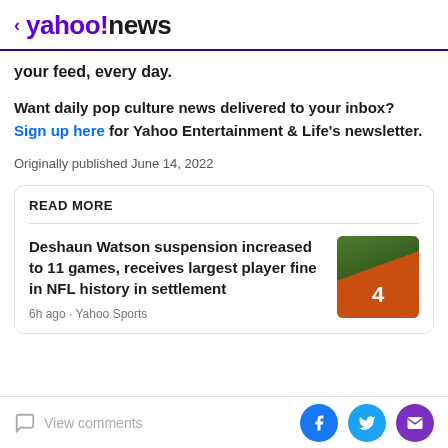< yahoo!news
your feed, every day.
Want daily pop culture news delivered to your inbox? Sign up here for Yahoo Entertainment & Life's newsletter.
Originally published June 14, 2022
READ MORE
Deshaun Watson suspension increased to 11 games, receives largest player fine in NFL history in settlement
6h ago · Yahoo Sports
View comments